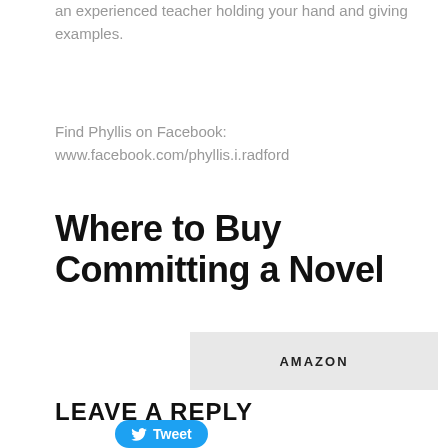an experienced teacher holding your hand and giving examples.
Find Phyllis on Facebook: www.facebook.com/phyllis.i.radford
Where to Buy Committing a Novel
[Figure (other): AMAZON button - grey rectangular button with text AMAZON in uppercase]
[Figure (other): Twitter Tweet button - blue rounded button with Twitter bird icon and text Tweet]
LEAVE A REPLY